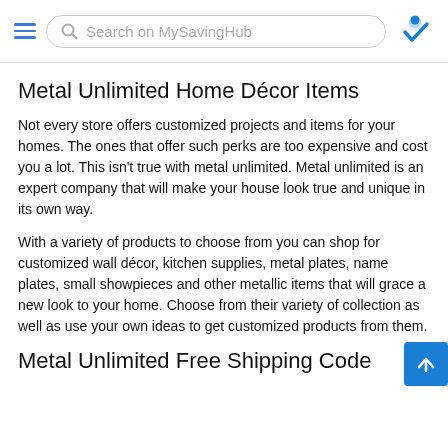Search on MySavingHub
Metal Unlimited Home Décor Items
Not every store offers customized projects and items for your homes. The ones that offer such perks are too expensive and cost you a lot. This isn't true with metal unlimited. Metal unlimited is an expert company that will make your house look true and unique in its own way.
With a variety of products to choose from you can shop for customized wall décor, kitchen supplies, metal plates, name plates, small showpieces and other metallic items that will grace a new look to your home. Choose from their variety of collection as well as use your own ideas to get customized products from them.
Metal Unlimited Free Shipping Code